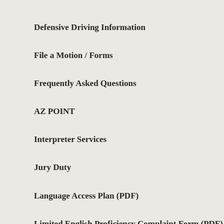Defensive Driving Information
File a Motion / Forms
Frequently Asked Questions
AZ POINT
Interpreter Services
Jury Duty
Language Access Plan (PDF)
Limited English Proficiency Complaint Form (PDF)